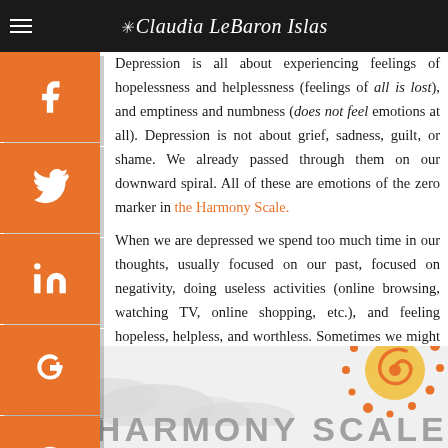☀ Claudia LeBaron Islas
Depression is all about experiencing feelings of hopelessness and helplessness (feelings of all is lost), and emptiness and numbness (does not feel emotions at all). Depression is not about grief, sadness, guilt, or shame. We already passed through them on our downward spiral. All of these are emotions of the zero marker in the Harmony Scale.
When we are depressed we spend too much time in our thoughts, usually focused on our past, focused on negativity, doing useless activities (online browsing, watching TV, online shopping, etc.), and feeling hopeless, helpless, and worthless. Sometimes we might seek experiences in which we get hurt physically, emotionally, or mentally, by self or others to at least feel something even if it's painful.
[Figure (logo): Sun/spiral logo for Claudia LeBaron Islas in orange and yellow tones, bottom right]
THE HARMONY SCALE